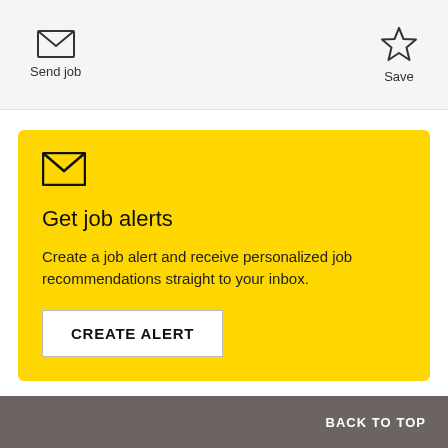[Figure (other): Envelope icon above 'Send job' label]
Send job
[Figure (other): Star/bookmark icon above 'Save' label]
Save
[Figure (other): Yellow card with envelope icon, 'Get job alerts' heading, description text, and CREATE ALERT button]
Get job alerts
Create a job alert and receive personalized job recommendations straight to your inbox.
CREATE ALERT
BACK TO TOP